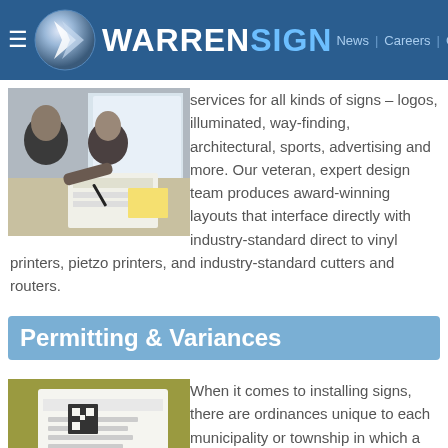WARRENSIGN | News | Careers | Contact
[Figure (photo): Two people working at a design desk, reviewing printed sign layouts]
services for all kinds of signs – logos, illuminated, way-finding, architectural, sports, advertising and more. Our veteran, expert design team produces award-winning layouts that interface directly with industry-standard direct to vinyl printers, pietzo printers, and industry-standard cutters and routers.
Permitting & Variances
[Figure (photo): A hand signing or filling out a permit or variance document with a pen]
When it comes to installing signs, there are ordinances unique to each municipality or township in which a sign will be placed.  Add permits, variances and planning